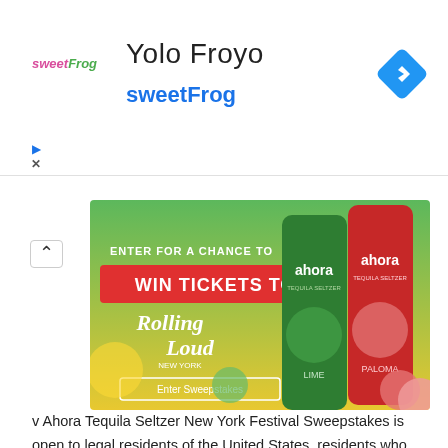Yolo Froyo
sweetFrog
[Figure (advertisement): Ahora Tequila Seltzer advertisement banner for winning Rolling Loud tickets sweepstakes, showing green and red cans on green/yellow background]
v Ahora Tequila Seltzer New York Festival Sweepstakes is open to legal residents of the United States, residents who have reached the age of majority in their state of residence at the time of entry. This Sweepstakes closing on September 5th, 2022. Candidates have to submit their entry before deadline, who are willing to take…
Read More »